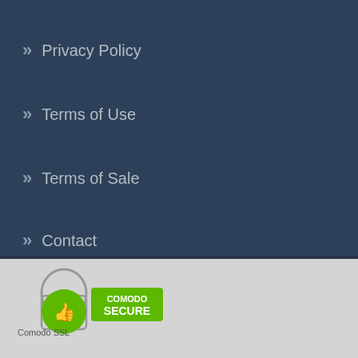Privacy Policy
Terms of Use
Terms of Sale
Contact
COPYRIGHT 👍 Webtextanalyzer 2021
a trading name of Binaryone
[Figure (logo): Comodo Secure SSL badge with padlock and thumbs up icon]
Comodo SSL